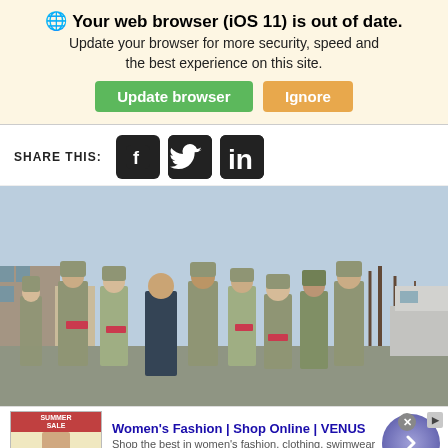Your web browser (iOS 11) is out of date. Update your browser for more security, speed and the best experience on this site. [Update browser] [Ignore]
SHARE THIS:
[Figure (photo): Group photo of approximately 10 people in US Army camouflage uniforms (ACU) posing together outdoors, with one civilian in a dark jacket and khaki pants in the center. They appear to be at an outdoor event with buildings and bare trees in the background.]
[Figure (other): Advertisement banner for VENUS women's fashion. Shows thumbnail of women's clothing sale ad on left, text 'Women's Fashion | Shop Online | VENUS' and 'Shop the best in women's fashion, clothing, swimwear' with url 'venus.com', and a purple circle with right-arrow button on the right.]